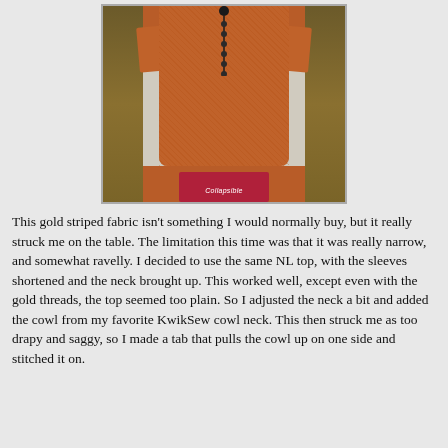[Figure (photo): A rust/gold striped knit top displayed on a dress form mannequin with a long black beaded necklace. The dress form has a red band at the bottom labeled 'Collapsible'. Background shows gold/brown cylindrical objects and white fabric.]
This gold striped fabric isn't something I would normally buy, but it really struck me on the table.  The limitation this time was that it was really narrow, and somewhat ravelly.  I decided to use the same NL top, with the sleeves shortened and the neck brought up.  This worked well, except even with the gold threads, the top seemed too plain.  So I adjusted the neck a bit and added the cowl from my favorite KwikSew cowl neck.  This then struck me as too drapy and saggy, so I made a tab that pulls the cowl up on one side and stitched it on.